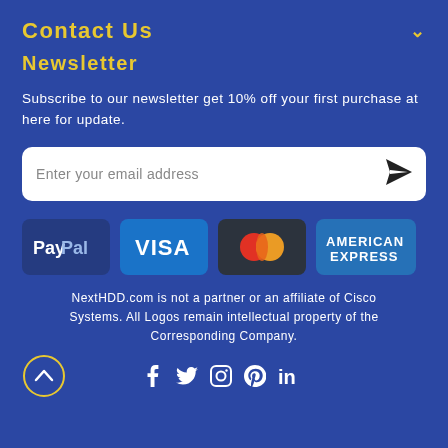Contact Us
Newsletter
Subscribe to our newsletter get 10% off your first purchase at here for update.
Enter your email address
[Figure (logo): Payment method logos: PayPal, Visa, Mastercard, American Express]
NextHDD.com is not a partner or an affiliate of Cisco Systems. All Logos remain intellectual property of the Corresponding Company.
[Figure (illustration): Back to top arrow button and social media icons: Facebook, Twitter, Instagram, Pinterest, LinkedIn]